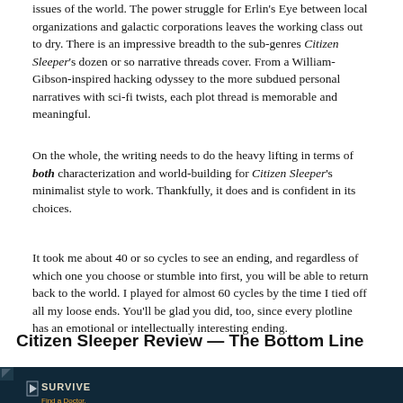issues of the world. The power struggle for Erlin's Eye between local organizations and galactic corporations leaves the working class out to dry. There is an impressive breadth to the sub-genres Citizen Sleeper's dozen or so narrative threads cover. From a William-Gibson-inspired hacking odyssey to the more subdued personal narratives with sci-fi twists, each plot thread is memorable and meaningful.
On the whole, the writing needs to do the heavy lifting in terms of both characterization and world-building for Citizen Sleeper's minimalist style to work. Thankfully, it does and is confident in its choices.
It took me about 40 or so cycles to see an ending, and regardless of which one you choose or stumble into first, you will be able to return back to the world. I played for almost 60 cycles by the time I tied off all my loose ends. You'll be glad you did, too, since every plotline has an emotional or intellectually interesting ending.
Citizen Sleeper Review — The Bottom Line
[Figure (screenshot): Screenshot from Citizen Sleeper game showing UI elements: a 'SURVIVE / Find a Doctor.' quest prompt on the left with a play button icon, and on the right a 'FLICKERING' panel with dice/status icons including shocked face dice, target, and exclamation mark icons on a dark teal background.]